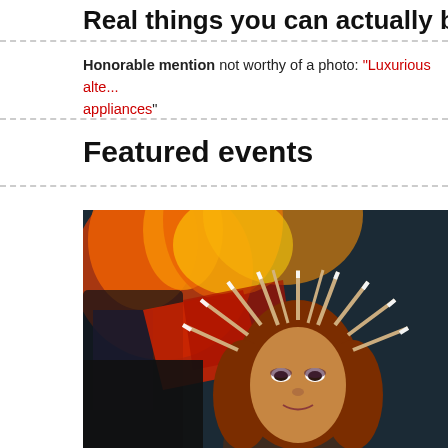Real things you can actually buy: No...
Honorable mention not worthy of a photo: "Luxurious alte... appliances"
Featured events
[Figure (photo): Woman with red hair wearing a crown made of cigarettes, with fire/flames in the background]